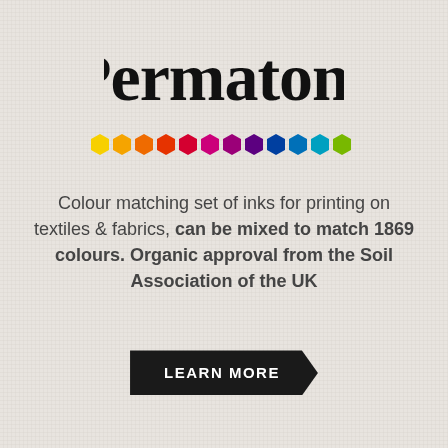[Figure (logo): Permatone cursive/script logo in black]
[Figure (infographic): Row of 12 colored hexagons: yellow, orange-yellow, orange, red-orange, red, hot pink/magenta, dark pink, purple, dark blue, medium blue, light blue, yellow-green, green]
Colour matching set of inks for printing on textiles & fabrics, can be mixed to match 1869 colours. Organic approval from the Soil Association of the UK
LEARN MORE